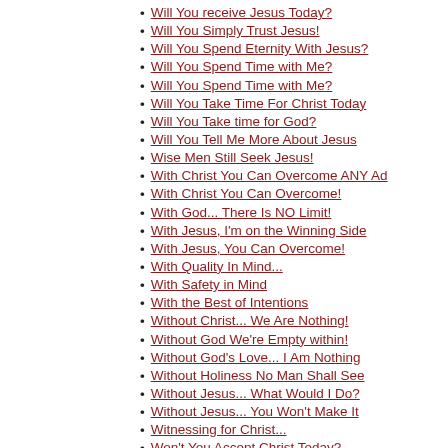Will You receive Jesus Today?
Will You Simply Trust Jesus!
Will You Spend Eternity With Jesus?
Will You Spend Time with Me?
Will You Spend Time with Me?
Will You Take Time For Christ Today
Will You Take time for God?
Will You Tell Me More About Jesus
Wise Men Still Seek Jesus!
With Christ You Can Overcome ANY Ad
With Christ You Can Overcome!
With God... There Is NO Limit!
With Jesus, I'm on the Winning Side
With Jesus, You Can Overcome!
With Quality In Mind...
With Safety in Mind
With the Best of Intentions
Without Christ... We Are Nothing!
Without God We're Empty within!
Without God's Love... I Am Nothing
Without Holiness No Man Shall See
Without Jesus... What Would I Do?
Without Jesus... You Won't Make It
Witnessing for Christ...
Won't You Accept Christ Today?
Won't You Accept God's Salvation?
Won't You Accept Jesus Today?
Won't You Accept Jesus?
Won't You Accept Jesus?
Won't You Allow God to Touch You?